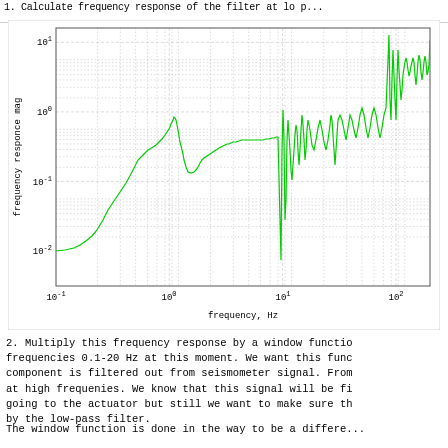1. Calculate frequency response of the filter at lo p...
[Figure (continuous-plot): Log-log frequency response magnitude plot. X-axis: frequency Hz from 10^-1 to 10^2. Y-axis: frequency response mag from ~10^-2 to 10^1. Green waveform showing filter response with peaks around 0.7 Hz and 10-100 Hz.]
2. Multiply this frequency response by a window functio
frequencies 0.1-20 Hz at this moment. We want this func
component is filtered out from seismometer signal. From
at high frequenies. We know that this signal will be fi
going to the actuator but still we want to make sure th
by the low-pass filter.
The window function is done in the way to be a differe...